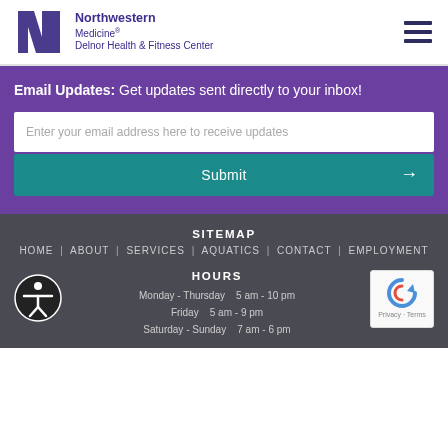[Figure (logo): Northwestern Medicine Delnor Health & Fitness Center logo with NM monogram]
Email Updates: Get updates sent directly to your inbox!
Enter your email address here to receive updates
Submit →
SITEMAP
HOME | ABOUT | SERVICES | AQUATICS | CONTACT | EMPLOYMENT
HOURS
Monday - Thursday   5 am - 10 pm
Friday   5 am - 9 pm
Saturday - Sunday   7 am - 6 pm
[Figure (other): Accessibility icon (person in circle)]
[Figure (other): reCAPTCHA widget with Privacy and Terms text]